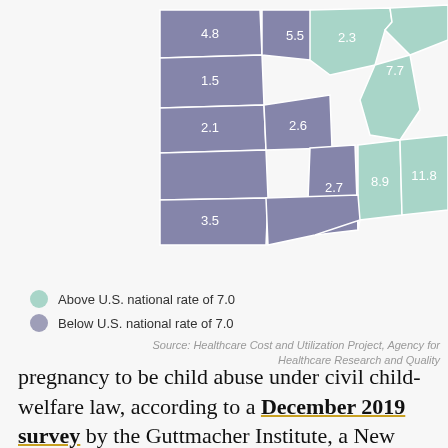[Figure (map): Partial US map showing Midwest states with values. Dark blue/purple states (below national rate): labeled with values 4.8, 5.5, 1.5, 2.3, 7.7, 2.1, 2.6, 2.7, 8.9, 11.8, 3.5. Light teal states (above U.S. national rate of 7.0): labeled with values 7.7, 8.9, 11.8, 2.3. Legend: Above U.S. national rate of 7.0 (teal), Below U.S. national rate of 7.0 (purple/blue). Source: Healthcare Cost and Utilization Project, Agency for Healthcare Research and Quality.]
Above U.S. national rate of 7.0
Below U.S. national rate of 7.0
Source: Healthcare Cost and Utilization Project, Agency for Healthcare Research and Quality
pregnancy to be child abuse under civil child-welfare law, according to a December 2019 survey by the Guttmacher Institute, a New York City-based organization researching sexual and